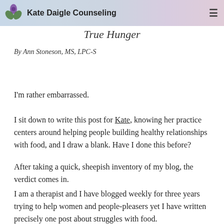Kate Daigle Counseling
True Hunger
By Ann Stoneson, MS, LPC-S
I'm rather embarrassed.
I sit down to write this post for Kate, knowing her practice centers around helping people building healthy relationships with food, and I draw a blank. Have I done this before?
After taking a quick, sheepish inventory of my blog, the verdict comes in.
I am a therapist and I have blogged weekly for three years trying to help women and people-pleasers yet I have written precisely one post about struggles with food.